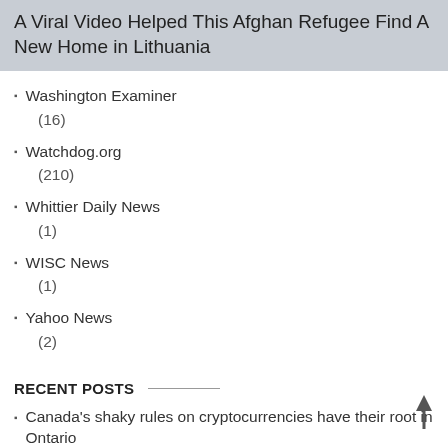A Viral Video Helped This Afghan Refugee Find A New Home in Lithuania
Washington Examiner
(16)
Watchdog.org
(210)
Whittier Daily News
(1)
WISC News
(1)
Yahoo News
(2)
RECENT POSTS
Canada's shaky rules on cryptocurrencies have their root in Ontario